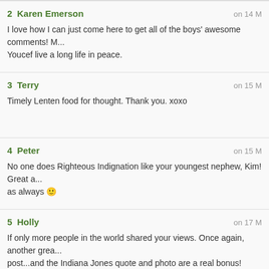2 Karen Emerson on 14 M — I love how I can just come here to get all of the boys' awesome comments! M... Youcef live a long life in peace.
3 Terry on 15 M — Timely Lenten food for thought. Thank you. xoxo
4 Peter on 15 M — No one does Righteous Indignation like your youngest nephew, Kim! Great a... as always 🙂
5 Holly on 17 M — If only more people in the world shared your views. Once again, another grea... post...and the Indiana Jones quote and photo are a real bonus!